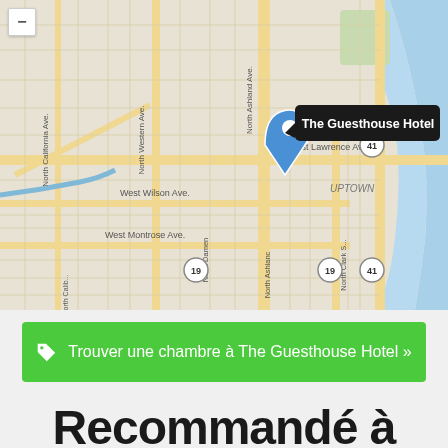[Figure (map): Street map of Uptown Chicago area showing The Guesthouse Hotel location marked with a blue pin near North Ashland Ave and West Lawrence Ave. Streets labeled include North California Ave, North Western Ave, North Ashland Ave, West Lawrence Ave, West Wilson Ave, West Montrose Ave, North Damen, North Clark St. Route markers 19 and 41 visible. Lake Michigan visible on right edge. Map has minus zoom button in top-left corner.]
Trouver une chambre à The Guesthouse Hotel »
Recommandé à